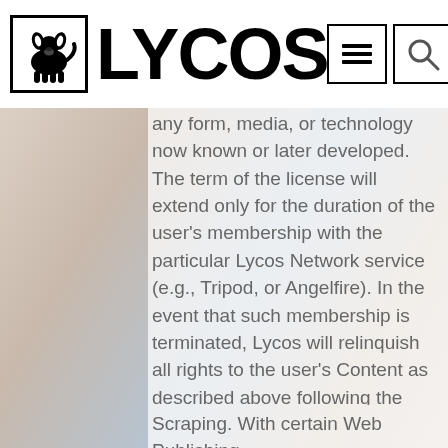LYCOS
any form, media, or technology now known or later developed. The term of the license will extend only for the duration of the user's membership with the particular Lycos Network service (e.g., Tripod, or Angelfire). In the event that such membership is terminated, Lycos will relinquish all rights to the user's Content as described above following the duration of any applicable promotional activities ongoing at the time the membership is terminated.
Scraping. With certain Web Publishing